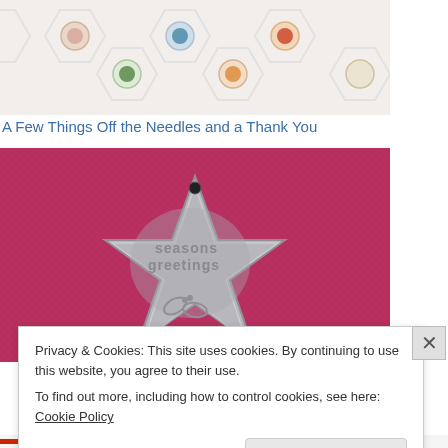[Figure (photo): Top portion of a crochet hexagon blanket photo with colorful African flower motifs on white background, cropped at top]
A Few Things Off the Needles and a Thank You
[Figure (photo): A silver star-shaped ornament with 'seasons greetings' embossed text and holly leaf design, placed on a pink/red fabric background]
Privacy & Cookies: This site uses cookies. By continuing to use this website, you agree to their use.
To find out more, including how to control cookies, see here: Cookie Policy
Close and accept